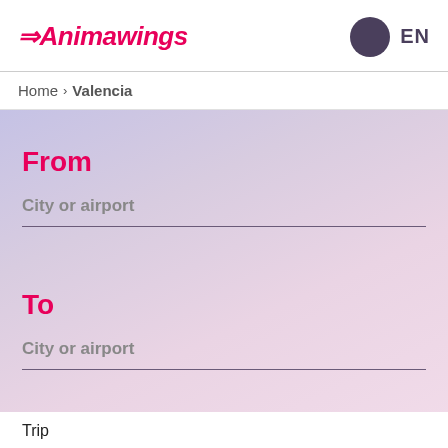Animawings  EN
Home > Valencia
From
City or airport
To
City or airport
Trip